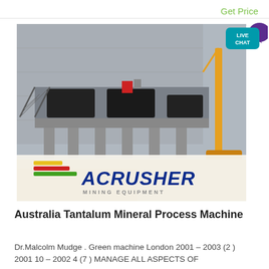Get Price
[Figure (photo): Industrial mining equipment installation showing large crushers mounted on a concrete platform with stairs and a yellow crane on the right side, with ACRUSHER MINING EQUIPMENT logo overlay at the bottom]
Australia Tantalum Mineral Process Machine
Dr.Malcolm Mudge . Green machine London 2001 – 2003 (2 ) 2001 10 – 2002 4 (7 ) MANAGE ALL ASPECTS OF